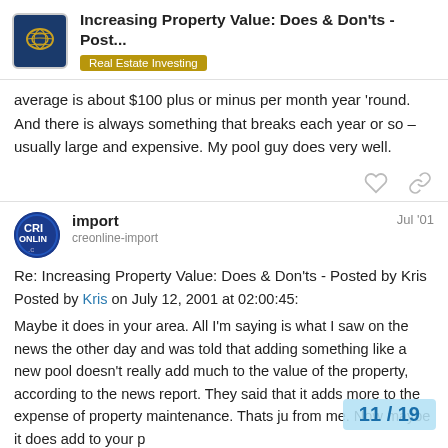Increasing Property Value: Does & Don'ts - Post... | Real Estate Investing
average is about $100 plus or minus per month year 'round. And there is always something that breaks each year or so – usually large and expensive. My pool guy does very well.
import Jul '01
creonline-import
Re: Increasing Property Value: Does & Don'ts - Posted by Kris
Posted by Kris on July 12, 2001 at 02:00:45:
Maybe it does in your area. All I'm saying is what I saw on the news the other day and was told that adding something like a new pool doesn't really add much to the value of the property, according to the news report. They said that it adds more to the expense of property maintenance. Thats ju from me. Now maybe it does add to your p